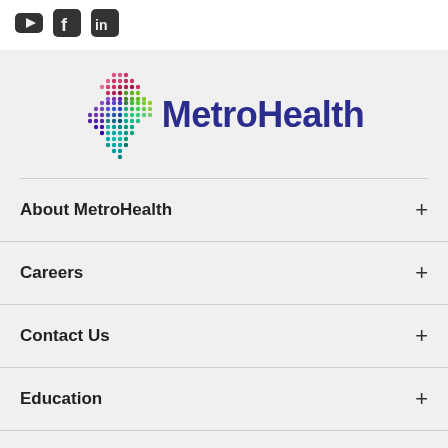[Figure (logo): Social media icons: YouTube, Facebook, LinkedIn]
[Figure (logo): MetroHealth logo with colorful dot-matrix cross and text MetroHealth in dark blue]
About MetroHealth +
Careers +
Contact Us +
Education +
Billing & Financial Services +